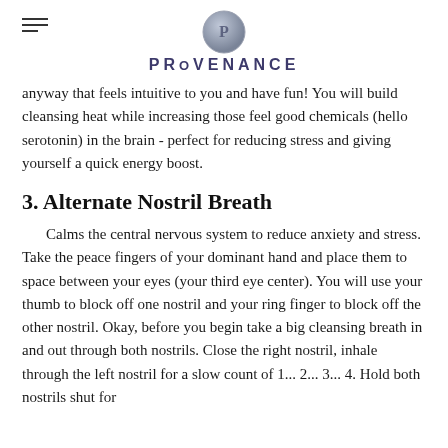PROVENANCE
anyway that feels intuitive to you and have fun! You will build cleansing heat while increasing those feel good chemicals (hello serotonin) in the brain - perfect for reducing stress and giving yourself a quick energy boost.
3. Alternate Nostril Breath
Calms the central nervous system to reduce anxiety and stress.  Take the peace fingers of your dominant hand and place them to space between your eyes (your third eye center). You will use your thumb to block off one nostril and your ring finger to block off the other nostril. Okay, before you begin take a big cleansing breath in and out through both nostrils. Close the right nostril, inhale through the left nostril for a slow count of 1... 2... 3... 4. Hold both nostrils shut for